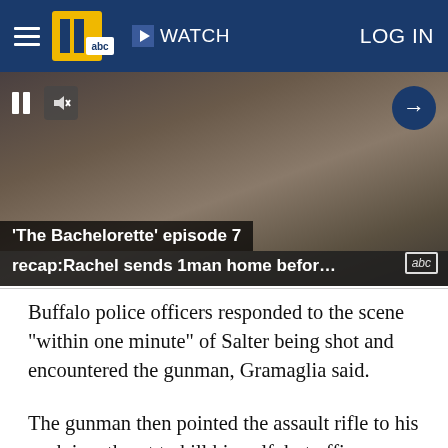WATCH  LOG IN
[Figure (screenshot): Video player screenshot showing a blurred background with pause and mute controls, an arrow navigation button, and a caption overlay reading: 'The Bachelorette' episode 7 recap:Rachel sends 1man home befor…]
Buffalo police officers responded to the scene "within one minute" of Salter being shot and encountered the gunman, Gramaglia said.
The gunman then pointed the assault rifle to his neck in a threat to kill himself, but officers were able to deescalate the situation and talk him into dropping the weapon, Gramaglia said. The suspect then dropped to his knees and began taking off his tactical gear, and